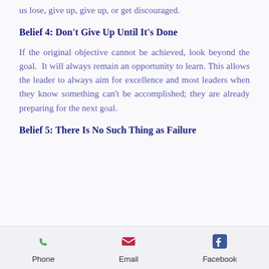us lose, give up, give up, or get discouraged.
Belief 4: Don't Give Up Until It's Done
If the original objective cannot be achieved, look beyond the goal. It will always remain an opportunity to learn. This allows the leader to always aim for excellence and most leaders when they know something can't be accomplished; they are already preparing for the next goal.
Belief 5: There Is No Such Thing as Failure
Phone   Email   Facebook